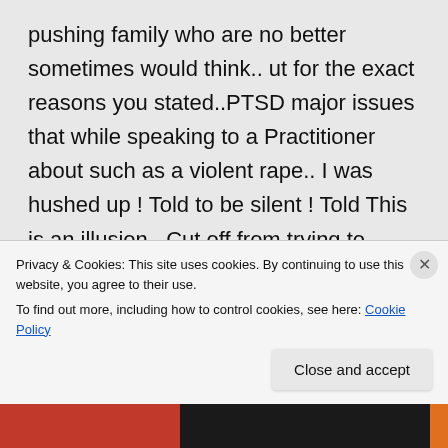pushing family who are no better sometimes would think.. ut for the exact reasons you stated..PTSD major issues that while speaking to a Practitioner about such as a violent rape.. I was hushed up ! Told to be silent ! Told This is an illusion ,,Cut off from trying to express this thing I : went through: until I had pushed it all way back in and I went through a mental battle with that
Privacy & Cookies: This site uses cookies. By continuing to use this website, you agree to their use.
To find out more, including how to control cookies, see here: Cookie Policy
Close and accept